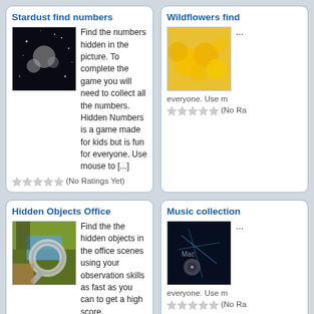Stardust find numbers
Find the numbers hidden in the picture. To complete the game you will need to collect all the numbers. Hidden Numbers is a game made for kids but is fun for everyone. Use mouse to [...]
(No Ratings Yet)
Wildflowers find...
everyone. Use m...
(No Ra...
Hidden Objects Office
Find the the hidden objects in the office scenes using your observation skills as fast as you can to get a high score.
(No Ratings Yet)
Music collection...
everyone. Use m...
(No Ra...
Nice melody find numbers
Find the numbers hidden in the picture. To complete the game
Lovely Farm Hi...